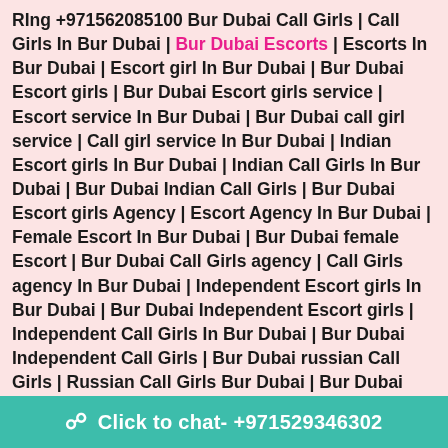RIng +971562085100 Bur Dubai Call Girls | Call Girls In Bur Dubai | Bur Dubai Escorts | Escorts In Bur Dubai | Escort girl In Bur Dubai | Bur Dubai Escort girls | Bur Dubai Escort girls service | Escort service In Bur Dubai | Bur Dubai call girl service | Call girl service In Bur Dubai | Indian Escort girls In Bur Dubai | Indian Call Girls In Bur Dubai | Bur Dubai Indian Call Girls | Bur Dubai Escort girls Agency | Escort Agency In Bur Dubai | Female Escort In Bur Dubai | Bur Dubai female Escort | Bur Dubai Call Girls agency | Call Girls agency In Bur Dubai | Independent Escort girls In Bur Dubai | Bur Dubai Independent Escort girls | Independent Call Girls In Bur Dubai | Bur Dubai Independent Call Girls | Bur Dubai russian Call Girls | Russian Call Girls Bur Dubai | Bur Dubai russian Escort girl | Russian Escort girl In Bur Dubai | Bur Dubai Pakistani Call Girls | Pakistani Call Girls In Bur Dubai | Bur Dubai pakistani Escorts | Meture Call Girls In Bur Dubai | Freelance Escort
Click to chat- +971529346302